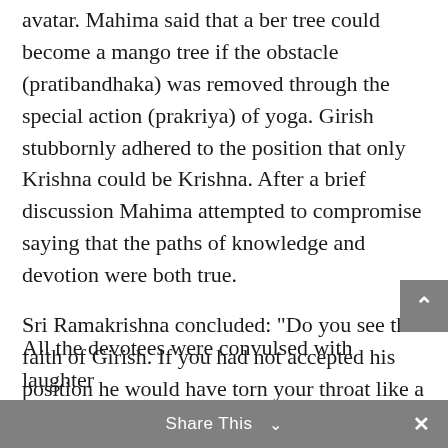avatar.  Mahima said that a ber tree could become a mango tree if the obstacle (pratibandhaka) was removed through the special action (prakriya) of yoga.  Girish stubbornly adhered to the position that only Krishna could be Krishna.  After a brief discussion Mahima attempted to compromise saying that the paths of knowledge and devotion were both true.
Sri Ramakrishna concluded:  "Do you see the faith of Girish.  If you had not accepted his position he would have torn your throat like a dog tearing a piece of meat.  It has been very interesting.  You two now know each other and I have learned a lot."
Sri Ramakrishna, in a happy mood, entertained the devotees by imitating various dramatic mannerisms, at once humorous and ludicrous, adopted by singers of kirtan.
All the devotees were convulsed with laughter
Share This ∨  ×